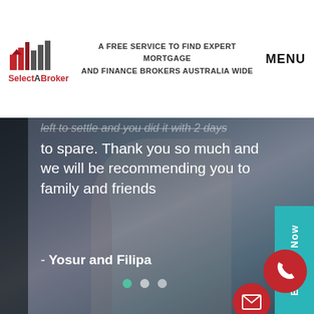SelectABroker — A FREE SERVICE TO FIND EXPERT MORTGAGE AND FINANCE BROKERS AUSTRALIA WIDE — MENU
[Figure (screenshot): Background photo of two people (man and woman) looking at documents, with dark overlay]
...left to settle and you did it with 2 days to spare. Thank you so much and we will be recommending you to family and friends
- Yosur and Filipa
[Figure (infographic): Teal sidebar with 'Enquire Now' text rotated vertically, red circular email icon button, red circular phone icon button]